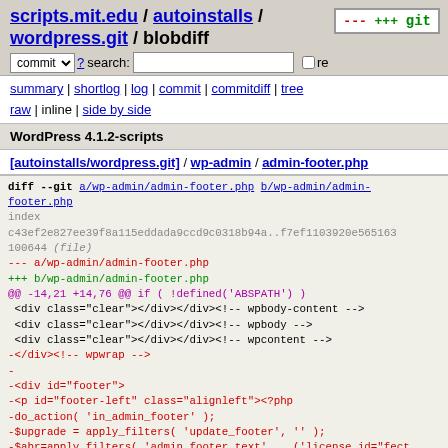scripts.mit.edu / autoinstalls / wordpress.git / blobdiff
commit ? search: re
summary | shortlog | log | commit | commitdiff | tree
raw | inline | side by side
WordPress 4.1.2-scripts
[autoinstalls/wordpress.git] / wp-admin / admin-footer.php
diff --git a/wp-admin/admin-footer.php b/wp-admin/admin-footer.php
index c43ef2e827ee39f8a115eddada9ccd9c0318b94a..f7ef1103920e565163
100644 (file)
--- a/wp-admin/admin-footer.php
+++ b/wp-admin/admin-footer.php
@@ -14,21 +14,76 @@ if ( !defined('ABSPATH') )
  <div class="clear"></div></div><!-- wpbody-content -->
  <div class="clear"></div></div><!-- wpbody -->
  <div class="clear"></div></div><!-- wpcontent -->
-</div><!-- wpwrap -->
-
-<div id="footer">
-<p id="footer-left" class="alignleft"><?php
-do_action( 'in_admin_footer' );
-$upgrade = apply_filters( 'update_footer', '' );
-$abr=apply_filters( 'admin_footer_text', __('license id="foct')